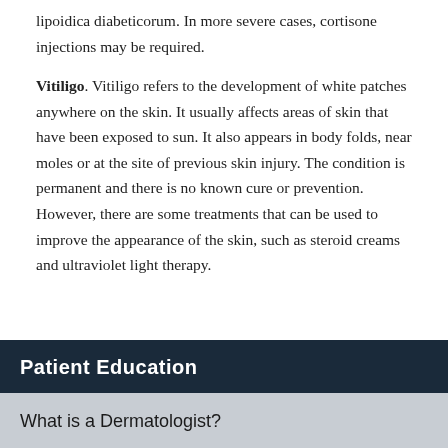typically, topical creams are used in necrobiosis lipoidica diabeticorum. In more severe cases, cortisone injections may be required.
Vitiligo. Vitiligo refers to the development of white patches anywhere on the skin. It usually affects areas of skin that have been exposed to sun. It also appears in body folds, near moles or at the site of previous skin injury. The condition is permanent and there is no known cure or prevention. However, there are some treatments that can be used to improve the appearance of the skin, such as steroid creams and ultraviolet light therapy.
Patient Education
What is a Dermatologist?